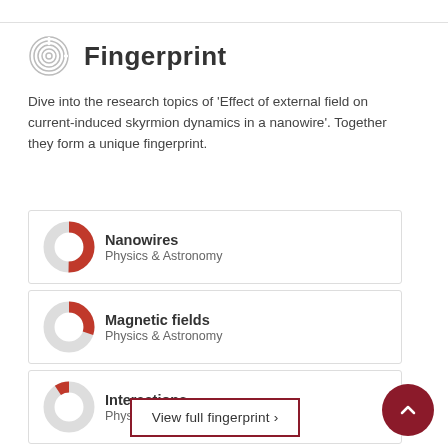Fingerprint
Dive into the research topics of 'Effect of external field on current-induced skyrmion dynamics in a nanowire'. Together they form a unique fingerprint.
Nanowires
Physics & Astronomy
Magnetic fields
Physics & Astronomy
Interactions
Physics & Astronomy
View full fingerprint ›